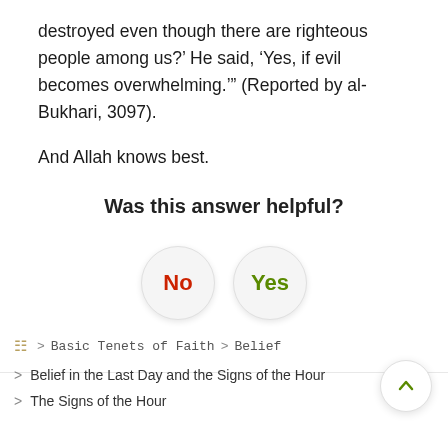destroyed even though there are righteous people among us?’ He said, ‘Yes, if evil becomes overwhelming.’” (Reported by al-Bukhari, 3097).
And Allah knows best.
Was this answer helpful?
No
Yes
Basic Tenets of Faith  >  Belief
Belief in the Last Day and the Signs of the Hour
The Signs of the Hour